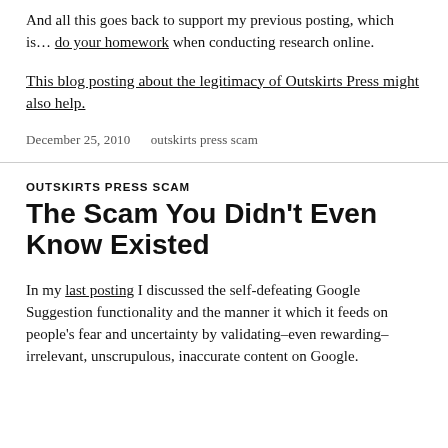And all this goes back to support my previous posting, which is… do your homework when conducting research online.
This blog posting about the legitimacy of Outskirts Press might also help.
December 25, 2010    outskirts press scam
OUTSKIRTS PRESS SCAM
The Scam You Didn't Even Know Existed
In my last posting I discussed the self-defeating Google Suggestion functionality and the manner it which it feeds on people's fear and uncertainty by validating–even rewarding–irrelevant, unscrupulous, inaccurate content on Google.